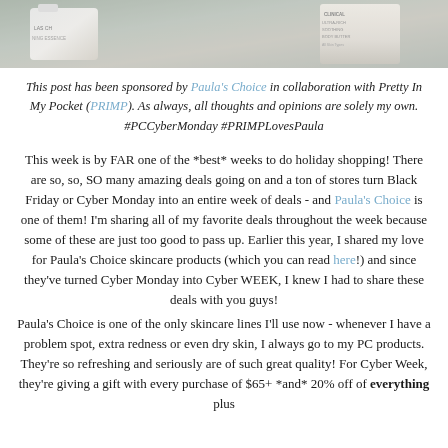[Figure (photo): Photo of skincare product bottles including Paula's Choice and a body butter on a surface]
This post has been sponsored by Paula's Choice in collaboration with Pretty In My Pocket (PRIMP). As always, all thoughts and opinions are solely my own. #PCCyberMonday #PRIMPLovesPaula
This week is by FAR one of the *best* weeks to do holiday shopping! There are so, so, SO many amazing deals going on and a ton of stores turn Black Friday or Cyber Monday into an entire week of deals - and Paula's Choice is one of them! I'm sharing all of my favorite deals throughout the week because some of these are just too good to pass up. Earlier this year, I shared my love for Paula's Choice skincare products (which you can read here!) and since they've turned Cyber Monday into Cyber WEEK, I knew I had to share these deals with you guys!
Paula's Choice is one of the only skincare lines I'll use now - whenever I have a problem spot, extra redness or even dry skin, I always go to my PC products. They're so refreshing and seriously are of such great quality! For Cyber Week, they're giving a gift with every purchase of $65+ *and* 20% off of everything plus